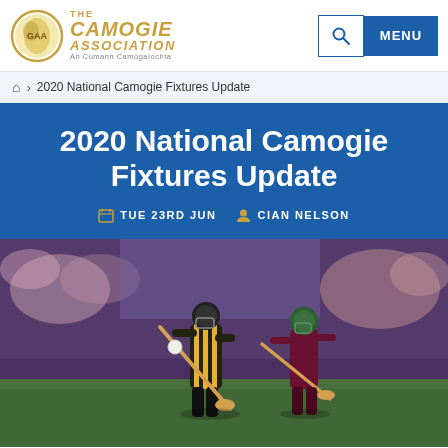The Camogie Association - An Cumann Camógaíochta
2020 National Camogie Fixtures Update
2020 National Camogie Fixtures Update
TUE 23RD JUN  CIAN NELSON
[Figure (photo): Two camogie players on the field; one wearing black and amber striped jersey (Kilkenny) and one wearing maroon jersey (Galway), both holding hurls, with a sliotar in the air. Stadium crowd visible in background.]